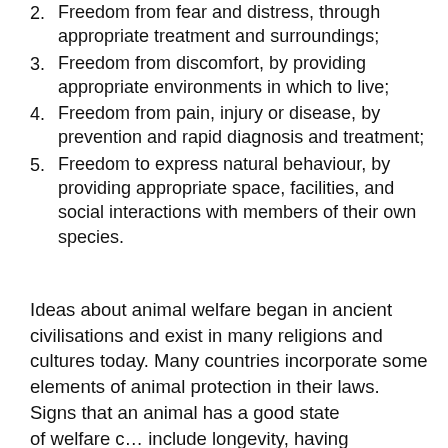2. Freedom from fear and distress, through appropriate treatment and surroundings;
3. Freedom from discomfort, by providing appropriate environments in which to live;
4. Freedom from pain, injury or disease, by prevention and rapid diagnosis and treatment;
5. Freedom to express natural behaviour, by providing appropriate space, facilities, and social interactions with members of their own species.
Ideas about animal welfare began in ancient civilisations and exist in many religions and cultures today. Many countries incorporate some elements of animal protection in their laws.
Signs that an animal has a good state of welfare c… include longevity, having low levels of disease,